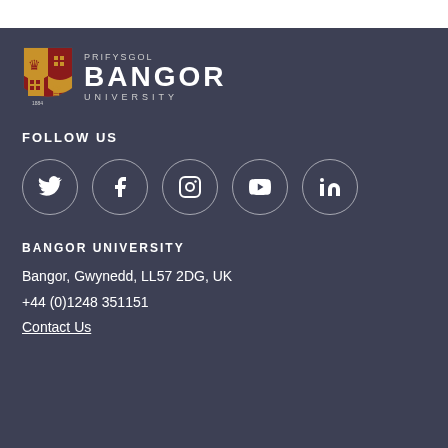[Figure (logo): Bangor University logo with shield crest, text PRIFYSGOL BANGOR UNIVERSITY]
FOLLOW US
[Figure (infographic): Five social media icons in circles: Twitter, Facebook, Instagram, YouTube, LinkedIn]
BANGOR UNIVERSITY
Bangor, Gwynedd, LL57 2DG, UK
+44 (0)1248 351151
Contact Us